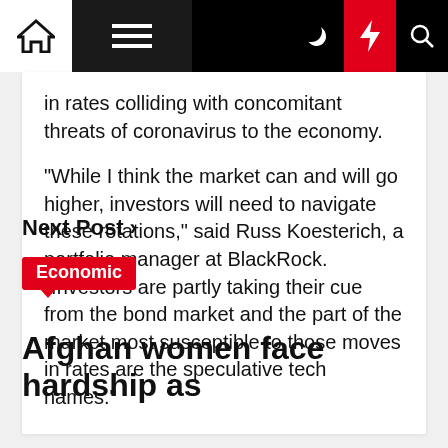Navigation bar with home, menu, dark mode, lightning, and search icons
in rates colliding with concomitant threats of coronavirus to the economy.
“While I think the market can and will go higher, investors will need to navigate these rotations,” said Russ Koesterich, a portfolio manager at BlackRock. “Investors are partly taking their cue from the bond market and the part of the market most susceptible to those moves in rates are the speculative tech names.”
Next Post ›
Economic
Afghan women face hardship as